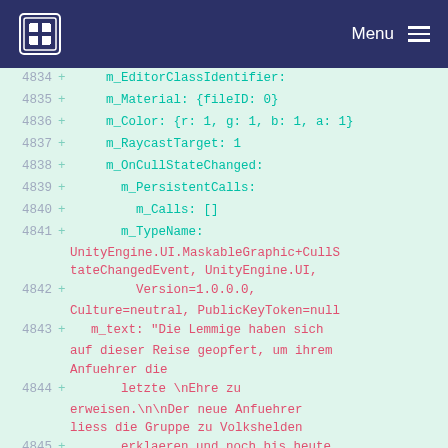Menu
4834 + m_EditorClassIdentifier:
4835 + m_Material: {fileID: 0}
4836 + m_Color: {r: 1, g: 1, b: 1, a: 1}
4837 + m_RaycastTarget: 1
4838 + m_OnCullStateChanged:
4839 + m_PersistentCalls:
4840 + m_Calls: []
4841 + m_TypeName: UnityEngine.UI.MaskableGraphic+CullStateChangedEvent, UnityEngine.UI,
4842 + Version=1.0.0.0, Culture=neutral, PublicKeyToken=null
4843 + m_text: "Die Lemmige haben sich auf dieser Reise geopfert, um ihrem Anfuehrer die
4844 + letzte \nEhre zu erweisen.\n\nDer neue Anfuehrer liess die Gruppe zu Volkshelden
4845 + erklaeren und noch bis heute wird ihre Reise besungen.\n\nNie